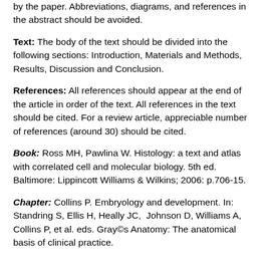by the paper. Abbreviations, diagrams, and references in the abstract should be avoided.
Text: The body of the text should be divided into the following sections: Introduction, Materials and Methods, Results, Discussion and Conclusion.
References: All references should appear at the end of the article in order of the text. All references in the text should be cited. For a review article, appreciable number of references (around 30) should be cited.
Book: Ross MH, Pawlina W. Histology: a text and atlas with correlated cell and molecular biology. 5th ed. Baltimore: Lippincott Williams & Wilkins; 2006: p.706-15.
Chapter: Collins P. Embryology and development. In: Standring S, Ellis H, Heally JC, Johnson D, Williams A, Collins P, et al. eds. Gray©s Anatomy: The anatomical basis of clinical practice.